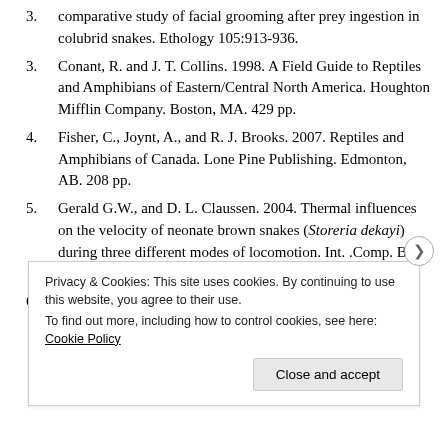comparative study of facial grooming after prey ingestion in colubrid snakes. Ethology 105:913-936.
4. Conant, R. and J. T. Collins. 1998. A Field Guide to Reptiles and Amphibians of Eastern/Central North America. Houghton Mifflin Company. Boston, MA. 429 pp.
5. Fisher, C., Joynt, A., and R. J. Brooks. 2007. Reptiles and Amphibians of Canada. Lone Pine Publishing. Edmonton, AB. 208 pp.
6. Gerald G.W., and D. L. Claussen. 2004. Thermal influences on the velocity of neonate brown snakes (Storeria dekayi) during three different modes of locomotion. Int. .Comp. Biol. 44:557-557.
7. Gerald G.W. 2008. Feign versus flight: influences of temperature, body size and locomotor abilities on death
Privacy & Cookies: This site uses cookies. By continuing to use this website, you agree to their use. To find out more, including how to control cookies, see here: Cookie Policy